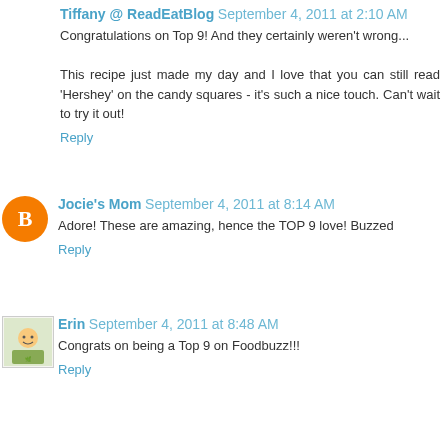Tiffany @ ReadEatBlog  September 4, 2011 at 2:10 AM
Congratulations on Top 9! And they certainly weren't wrong...

This recipe just made my day and I love that you can still read 'Hershey' on the candy squares - it's such a nice touch. Can't wait to try it out!
Reply
Jocie's Mom  September 4, 2011 at 8:14 AM
Adore! These are amazing, hence the TOP 9 love! Buzzed
Reply
Erin  September 4, 2011 at 8:48 AM
Congrats on being a Top 9 on Foodbuzz!!!
Reply